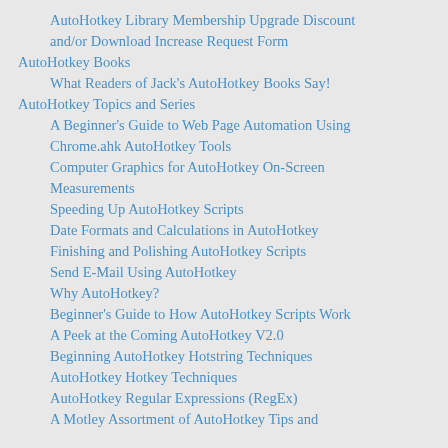AutoHotkey Library Membership Upgrade Discount and/or Download Increase Request Form
AutoHotkey Books
What Readers of Jack's AutoHotkey Books Say!
AutoHotkey Topics and Series
A Beginner's Guide to Web Page Automation Using Chrome.ahk AutoHotkey Tools
Computer Graphics for AutoHotkey On-Screen Measurements
Speeding Up AutoHotkey Scripts
Date Formats and Calculations in AutoHotkey
Finishing and Polishing AutoHotkey Scripts
Send E-Mail Using AutoHotkey
Why AutoHotkey?
Beginner's Guide to How AutoHotkey Scripts Work
A Peek at the Coming AutoHotkey V2.0
Beginning AutoHotkey Hotstring Techniques
AutoHotkey Hotkey Techniques
AutoHotkey Regular Expressions (RegEx)
A Motley Assortment of AutoHotkey Tips and